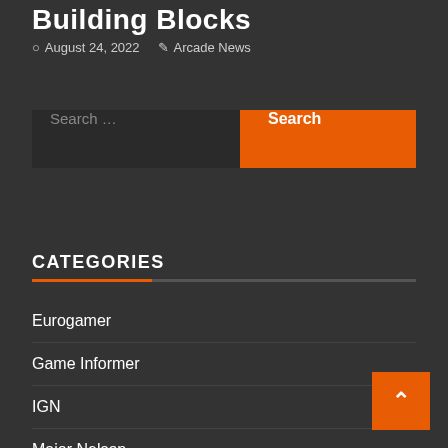Building Blocks
August 24, 2022  Arcade News
Search ...
CATEGORIES
Eurogamer
Game Informer
IGN
Major Nelson
My Nintendo News